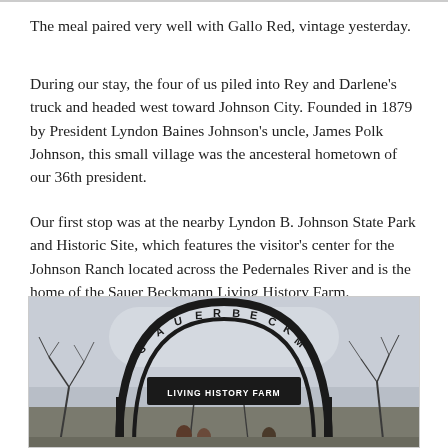The meal paired very well with Gallo Red, vintage yesterday.
During our stay, the four of us piled into Rey and Darlene's truck and headed west toward Johnson City. Founded in 1879 by President Lyndon Baines Johnson's uncle, James Polk Johnson, this small village was the ancesteral hometown of our 36th president.
Our first stop was at the nearby Lyndon B. Johnson State Park and Historic Site, which features the visitor's center for the Johnson Ranch located across the Pedernales River and is the home of the Sauer Beckmann Living History Farm.
[Figure (photo): A decorative iron arch gate sign reading 'SAUER BECKMANN LIVING HISTORY FARM' with bare winter trees and cloudy sky in the background, and people visible at the base.]